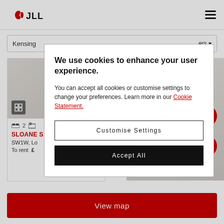[Figure (logo): JLL logo with red circular wave icon and JLL text in black]
Kensing...
...ers
[Figure (screenshot): Property listing card showing bedroom icon, 2 beds, SLOANE S..., SW1W, Lo..., To rent £...]
We use cookies to enhance your user experience.
You can accept all cookies or customise settings to change your preferences. Learn more in our Cookie Statement.
Customise Settings
Accept All
View map